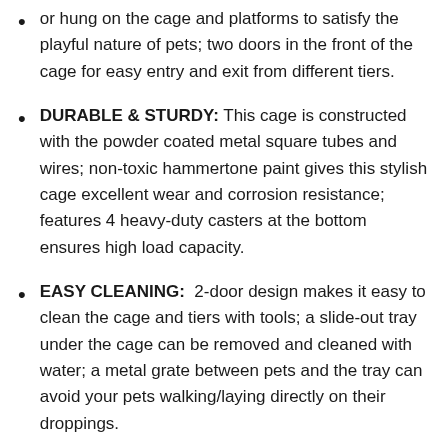or hung on the cage and platforms to satisfy the playful nature of pets; two doors in the front of the cage for easy entry and exit from different tiers.
DURABLE & STURDY: This cage is constructed with the powder coated metal square tubes and wires; non-toxic hammertone paint gives this stylish cage excellent wear and corrosion resistance; features 4 heavy-duty casters at the bottom ensures high load capacity.
EASY CLEANING:  2-door design makes it easy to clean the cage and tiers with tools; a slide-out tray under the cage can be removed and cleaned with water; a metal grate between pets and the tray can avoid your pets walking/laying directly on their droppings.